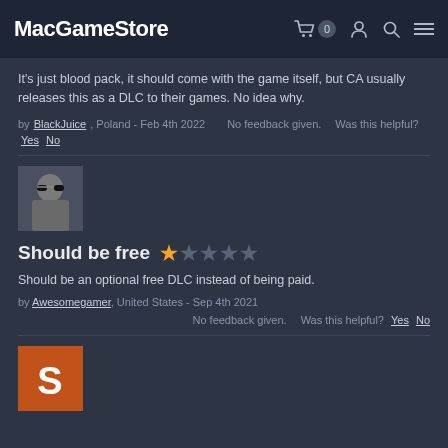MacGameStore
It's just blood pack, it should come with the game itself, but CA usually releases this as a DLC to their games. No idea why.
by BlackJuice, Poland - Feb 4th 2022   No feedback given.   Was this helpful? Yes  No
[Figure (photo): User avatar photo showing a man with sunglasses]
Should be free  ★☆☆☆☆
Should be an optional free DLC instead of being paid.
by Awesomegamer, United States - Sep 4th 2021   No feedback given.   Was this helpful? Yes  No
[Figure (illustration): Orange avatar with letter S]